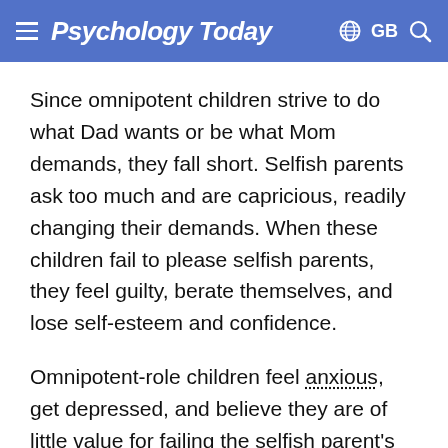Psychology Today  GB
Since omnipotent children strive to do what Dad wants or be what Mom demands, they fall short. Selfish parents ask too much and are capricious, readily changing their demands. When these children fail to please selfish parents, they feel guilty, berate themselves, and lose self-esteem and confidence.
Omnipotent-role children feel anxious, get depressed, and believe they are of little value for failing the selfish parent's demands. This puts them at risk for emotional illnesses of depression, academic failure, social withdrawal from friends,